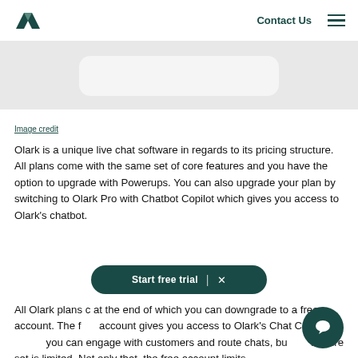Zendesk logo | Contact Us | Menu
[Figure (screenshot): Gray background image area with a light rounded rectangle element visible, partial screenshot of a product UI]
Image credit
Olark is a unique live chat software in regards to its pricing structure. All plans come with the same set of core features and you have the option to upgrade with Powerups. You can also upgrade your plan by switching to Olark Pro with Chatbot Copilot which gives you access to Olark's chatbot.
All Olark plans come with a free trial at the end of which you can downgrade to a free account. The free account gives you access to Olark's Chat Console where you can engage with customers and route chats, but the feature set is limited. Not only that, the free account limits